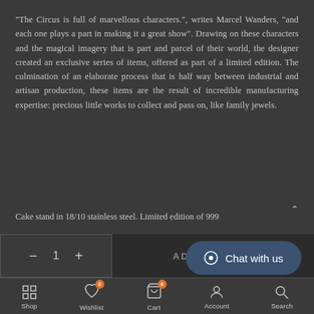"The Circus is full of marvellous characters.", writes Marcel Wanders, "and each one plays a part in making it a great show". Drawing on these characters and the magical imagery that is part and parcel of their world, the designer created an exclusive series of items, offered as part of a limited edition. The culmination of an elaborate process that is half way between industrial and artisan production, these items are the result of incredible manufacturing expertise: precious little works to collect and pass on, like family jewels.
Cake stand in 18/10 stainless steel. Limited edition of 999
[Figure (screenshot): E-commerce product page UI: quantity selector with minus button, 1, plus button; ADD TO CART dark button; bottom navigation bar with Shop, Wishlist (badge 0), Cart (badge 0), Account, Search icons; Chat with us floating button]